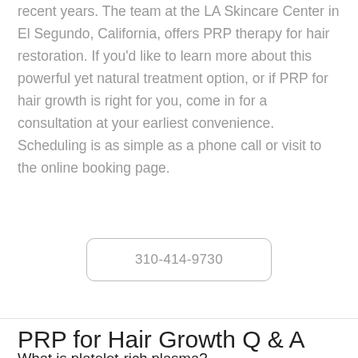recent years. The team at the LA Skincare Center in El Segundo, California, offers PRP therapy for hair restoration. If you'd like to learn more about this powerful yet natural treatment option, or if PRP for hair growth is right for you, come in for a consultation at your earliest convenience. Scheduling is as simple as a phone call or visit to the online booking page.
310-414-9730
PRP for Hair Growth Q & A
What is platelet-rich plasma?